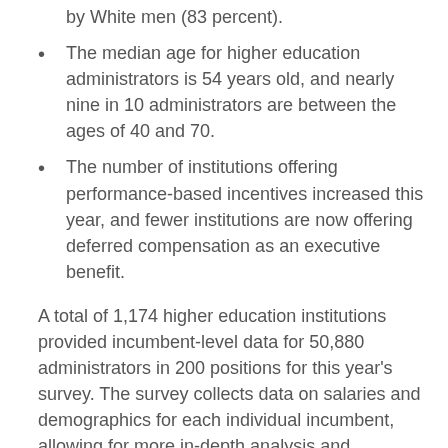by White men (83 percent).
The median age for higher education administrators is 54 years old, and nearly nine in 10 administrators are between the ages of 40 and 70.
The number of institutions offering performance-based incentives increased this year, and fewer institutions are now offering deferred compensation as an executive benefit.
A total of 1,174 higher education institutions provided incumbent-level data for 50,880 administrators in 200 positions for this year's survey. The survey collects data on salaries and demographics for each individual incumbent, allowing for more in-depth analysis and